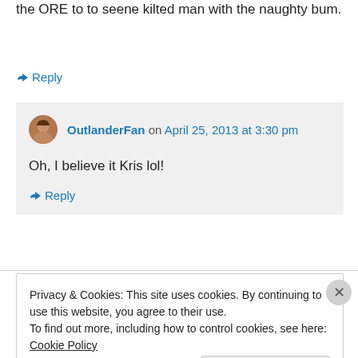the ORE to to seene kilted man with the naughty bum.
↳ Reply
OutlanderFan on April 25, 2013 at 3:30 pm
Oh, I believe it Kris lol!
↳ Reply
Privacy & Cookies: This site uses cookies. By continuing to use this website, you agree to their use.
To find out more, including how to control cookies, see here: Cookie Policy
Close and accept